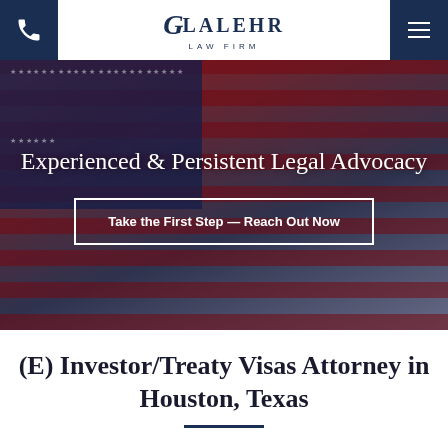Galehr Law Firm — phone and navigation header
[Figure (photo): Hero background image of a woman holding an American flag outdoors, with red, white, and blue flag stripes visible. Overlaid with semi-transparent dark tint.]
Experienced & Persistent Legal Advocacy
Take the First Step — Reach Out Now
(E) Investor/Treaty Visas Attorney in Houston, Texas